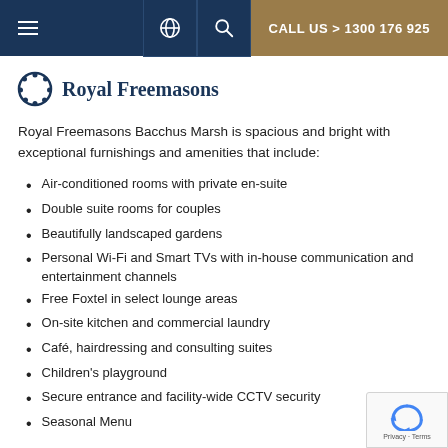CALL US > 1300 176 925
Royal Freemasons
Royal Freemasons Bacchus Marsh is spacious and bright with exceptional furnishings and amenities that include:
Air-conditioned rooms with private en-suite
Double suite rooms for couples
Beautifully landscaped gardens
Personal Wi-Fi and Smart TVs with in-house communication and entertainment channels
Free Foxtel in select lounge areas
On-site kitchen and commercial laundry
Café, hairdressing and consulting suites
Children's playground
Secure entrance and facility-wide CCTV security
Seasonal Menu
The facility was designed to draw residents to central dining areas, which are typical of a family home, where they can choose to eat on their own or in the company